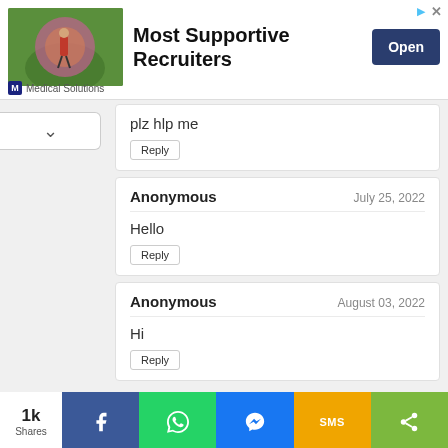[Figure (screenshot): Advertisement banner for Medical Solutions: 'Most Supportive Recruiters' with an Open button]
plz hlp me
Reply
Anonymous · July 25, 2022
Hello
Reply
Anonymous · August 03, 2022
Hi
Reply
1k Shares